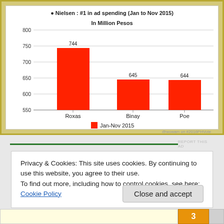[Figure (bar-chart): Nielsen : #1 in ad spending (Jan to Nov 2015)]
Privacy & Cookies: This site uses cookies. By continuing to use this website, you agree to their use.
To find out more, including how to control cookies, see here: Cookie Policy